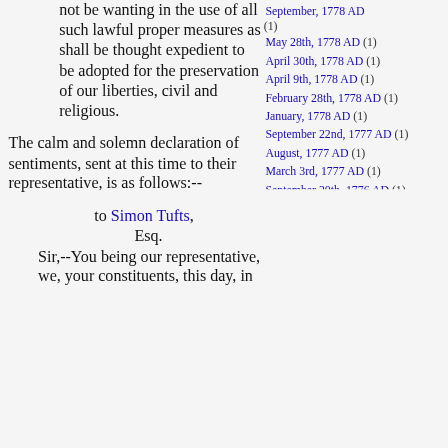not be wanting in the use of all such lawful proper measures as shall be thought expedient to be adopted for the preservation of our liberties, civil and religious.
The calm and solemn declaration of sentiments, sent at this time to their representative, is as follows:--
to Simon Tufts, Esq. Sir,--You being our representative, we, your constituents, this day, in
September, 1778 AD (1)
May 28th, 1778 AD (1)
April 30th, 1778 AD (1)
April 9th, 1778 AD (1)
February 28th, 1778 AD (1)
January, 1778 AD (1)
September 22nd, 1777 AD (1)
August, 1777 AD (1)
March 3rd, 1777 AD (1)
September 20th, 1776 AD (1)
August 26th, 1776 AD (1)
June 10th, 1776 AD (1)
April, 1776 AD (1)
March 12th, 1776 AD (1)
September 13th, 1775 AD (1)
August 6th, 1775 AD (1)
July, 1775 AD (1)
May 23rd, 1775 AD (1)
May, 1775 AD (1)
April 19th, 1775 AD (1)
February 1st, 1775 AD (1)
November 14th, 1774 AD (1)
August 27th, 1774 AD (1)
June 1st, 1774 AD (1)
1773 AD (1)
December 31st, 1772 AD (1)
December 21st, 1772 AD (1)
1772 AD (1)
June 29th, 1767 AD (1)
March 18th, 1766 AD (1)
October 21st, 1765 AD (1)
January 24th, 1764 AD (1)
1763 AD (1)
1762 AD (1)
June 6th, 1759 AD (1)
May 8th, 1754 AD (1)
January 10th, 1754 AD (1)
1753 AD (1)
1751 AD (1)
April 21st, 1747 AD (1)
1745 AD (1)